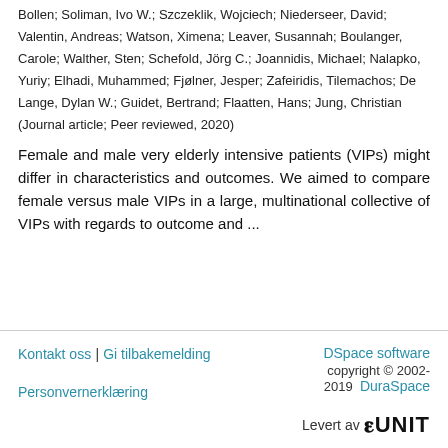Bollen; Soliman, Ivo W.; Szczeklik, Wojciech; Niederseer, David; Valentin, Andreas; Watson, Ximena; Leaver, Susannah; Boulanger, Carole; Walther, Sten; Schefold, Jörg C.; Joannidis, Michael; Nalapko, Yuriy; Elhadi, Muhammed; Fjølner, Jesper; Zafeiridis, Tilemachos; De Lange, Dylan W.; Guidet, Bertrand; Flaatten, Hans; Jung, Christian (Journal article; Peer reviewed, 2020)
Female and male very elderly intensive patients (VIPs) might differ in characteristics and outcomes. We aimed to compare female versus male VIPs in a large, multinational collective of VIPs with regards to outcome and ...
Kontakt oss | Gi tilbakemelding   Personvernerklæring   DSpace software copyright © 2002-2019  DuraSpace   Levert av UNIT